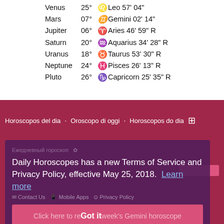Venus 25° ♌ Leo 57' 04"
Mars 07° ♊ Gemini 02' 14"
Jupiter 06° ♈ Aries 46' 59" R
Saturn 20° ♒ Aquarius 34' 28" R
Uranus 18° ♉ Taurus 53' 30" R
Neptune 24° ♓ Pisces 26' 13" R
Pluto 26° ♑ Capricorn 25' 35" R
Horoscopos del dia   Oroscopo di oggi   Horoscopos do dia
Daily Horoscopes has a new Terms of Service and Privacy Policy, effective May 25, 2018. Learn more
Contact Us   Mobile Apps   Privacy Policy
Click here to read this week's Gemini horoscope   Got it
Free Daily Horoscopes © 2005-2022 Daily Horoscopes